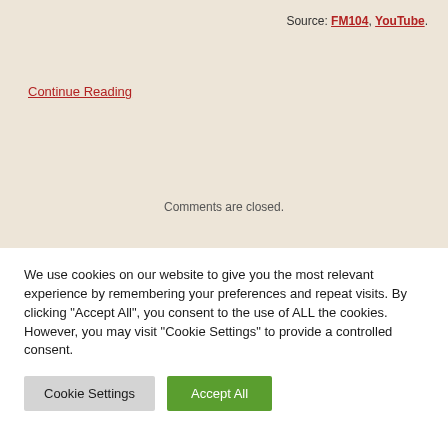Source: FM104, YouTube.
Continue Reading
Comments are closed.
We use cookies on our website to give you the most relevant experience by remembering your preferences and repeat visits. By clicking “Accept All”, you consent to the use of ALL the cookies. However, you may visit "Cookie Settings" to provide a controlled consent.
Cookie Settings
Accept All